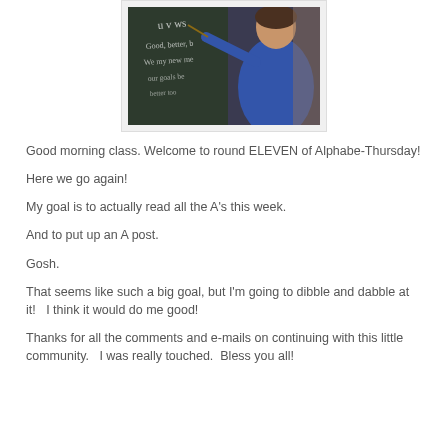[Figure (photo): A person in a blue jacket pointing at a chalkboard with cursive writing including letters U V W and phrases like 'Good, better, best' and 'We my new me' and 'our goals be better too']
Good morning class. Welcome to round ELEVEN of Alphabe-Thursday!
Here we go again!
My goal is to actually read all the A's this week.
And to put up an A post.
Gosh.
That seems like such a big goal, but I'm going to dibble and dabble at it!   I think it would do me good!
Thanks for all the comments and e-mails on continuing with this little community.   I was really touched.  Bless you all!